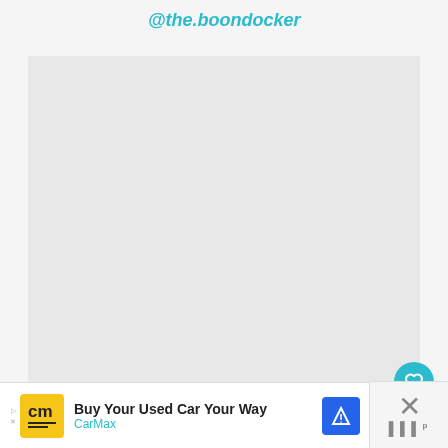@the.boondocker
[Figure (photo): Large light gray placeholder image area]
[Figure (infographic): Heart/like button showing 4.7K likes and share button overlay on image]
[Figure (infographic): What's Next card showing thumbnail and '10 Best Minivan...' title]
[Figure (infographic): CarMax advertisement banner: 'Buy Your Used Car Your Way' with CarMax logo and blue navigation icon]